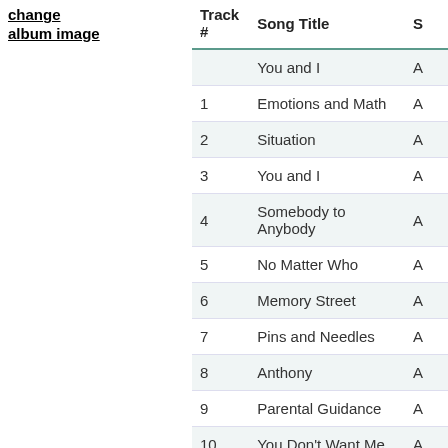change album image
| Track # | Song Title | S |
| --- | --- | --- |
|  | You and I | A |
| 1 | Emotions and Math | A |
| 2 | Situation | A |
| 3 | You and I | A |
| 4 | Somebody to Anybody | A |
| 5 | No Matter Who | A |
| 6 | Memory Street | A |
| 7 | Pins and Needles | A |
| 8 | Anthony | A |
| 9 | Parental Guidance | A |
| 10 | You Don't Want Me | A |
| 11 | Love Like This | A |